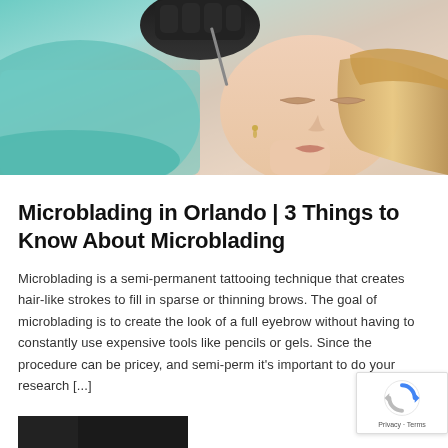[Figure (photo): Woman lying down with eyes closed receiving microblading treatment on eyebrows, practitioner wearing black gloves visible at top, teal/green salon background]
Microblading in Orlando | 3 Things to Know About Microblading
Microblading is a semi-permanent tattooing technique that creates hair-like strokes to fill in sparse or thinning brows. The goal of microblading is to create the look of a full eyebrow without having to constantly use expensive tools like pencils or gels. Since the procedure can be pricey, and semi-perm it's important to do your research [...]
[Figure (photo): Partial view of a second image at bottom of page, dark/black background visible]